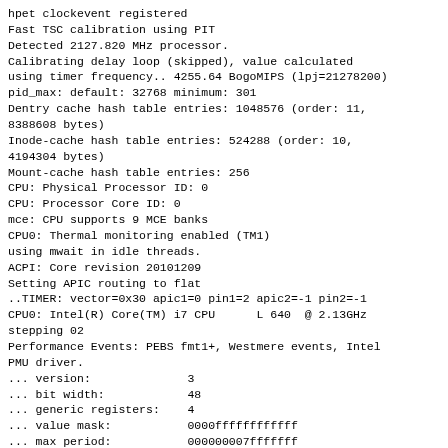hpet clockevent registered
Fast TSC calibration using PIT
Detected 2127.820 MHz processor.
Calibrating delay loop (skipped), value calculated
using timer frequency.. 4255.64 BogoMIPS (lpj=21278200)
pid_max: default: 32768 minimum: 301
Dentry cache hash table entries: 1048576 (order: 11,
8388608 bytes)
Inode-cache hash table entries: 524288 (order: 10,
4194304 bytes)
Mount-cache hash table entries: 256
CPU: Physical Processor ID: 0
CPU: Processor Core ID: 0
mce: CPU supports 9 MCE banks
CPU0: Thermal monitoring enabled (TM1)
using mwait in idle threads.
ACPI: Core revision 20101209
Setting APIC routing to flat
..TIMER: vector=0x30 apic1=0 pin1=2 apic2=-1 pin2=-1
CPU0: Intel(R) Core(TM) i7 CPU      L 640  @ 2.13GHz
stepping 02
Performance Events: PEBS fmt1+, Westmere events, Intel
PMU driver.
... version:              3
... bit width:            48
... generic registers:    4
... value mask:           0000ffffffffffff
... max period:           000000007fffffff
... fixed-purpose events: 3
... event mask:           000000007000000f
Pointing Xdriver to Preemptors #1,#2,#3...